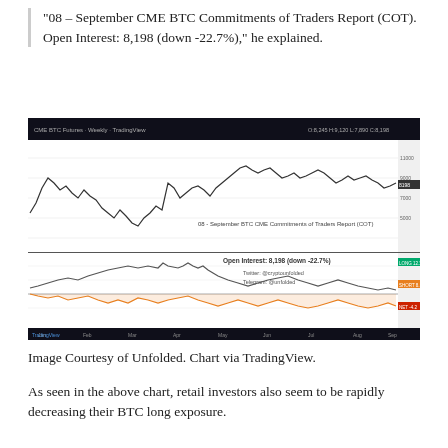"08 – September CME BTC Commitments of Traders Report (COT). Open Interest: 8,198 (down -22.7%)," he explained.
[Figure (screenshot): Screenshot of a TradingView chart showing the 08 – September BTC CME Commitments of Traders Report (COT). The upper panel shows a price/line chart of BTC CME futures over time with a dark background header. The lower panel shows COT data with colored lines (white, orange, red) and annotations: 'Open Interest: 8,198 (down -22.7%)', 'Twitter: @cryptounfolded', 'Telegram: @unfolded'. Colored legend bars visible on the right side (green, orange, red).]
Image Courtesy of Unfolded. Chart via TradingView.
As seen in the above chart, retail investors also seem to be rapidly decreasing their BTC long exposure.